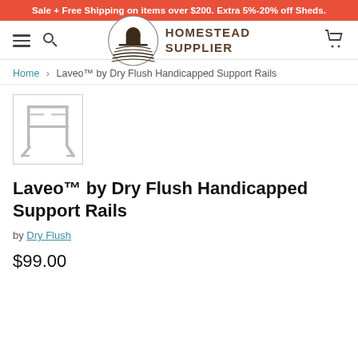Sale + Free Shipping on items over $200. Extra 5%-20% off Sheds.
[Figure (logo): Homestead Supplier logo: circular emblem with a barn/farmhouse and field rows, beside bold text reading HOMESTEAD SUPPLIER]
Home › Laveo™ by Dry Flush Handicapped Support Rails
[Figure (photo): Product thumbnail image of Laveo by Dry Flush Handicapped Support Rails — a metal support rail frame with folding arms]
Laveo™ by Dry Flush Handicapped Support Rails
by Dry Flush
$99.00